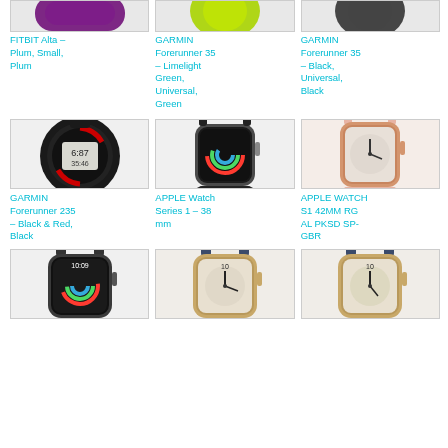[Figure (photo): FITBIT Alta wristband in plum color]
FITBIT Alta – Plum, Small, Plum
[Figure (photo): GARMIN Forerunner 35 in limelight green color]
GARMIN Forerunner 35 – Limelight Green, Universal, Green
[Figure (photo): GARMIN Forerunner 35 in black color]
GARMIN Forerunner 35 – Black, Universal, Black
[Figure (photo): GARMIN Forerunner 235 black and red sport watch]
GARMIN Forerunner 235 – Black & Red, Black
[Figure (photo): APPLE Watch Series 1 38mm space gray with black band]
APPLE Watch Series 1 – 38 mm
[Figure (photo): APPLE Watch S1 42MM rose gold with pink sand band]
APPLE WATCH S1 42MM RG AL PKSD SP-GBR
[Figure (photo): Apple Watch Series 2 space gray black band]
[Figure (photo): Apple Watch Series 2 gold with midnight blue band]
[Figure (photo): Apple Watch Series 2 gold with midnight blue band variant]